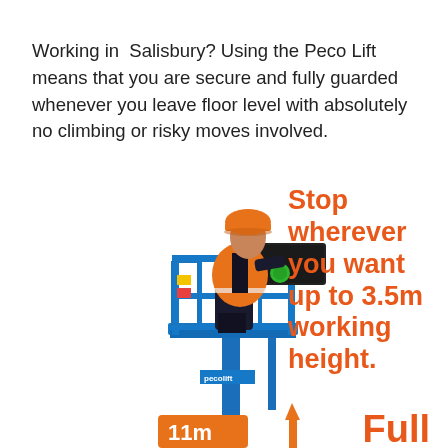Working in Salisbury? Using the Peco Lift means that you are secure and fully guarded whenever you leave floor level with absolutely no climbing or risky moves involved.
[Figure (illustration): Worker wearing orange safety vest and orange hard hat standing on a blue Peco Lift aerial work platform, viewed from the side. The lift has blue metal frame with guard rails and is extended upward on a mast. The worker is leaning forward operating a black tray/control box at the top.]
Stop wherever you want up to 3.5m working height.
Full